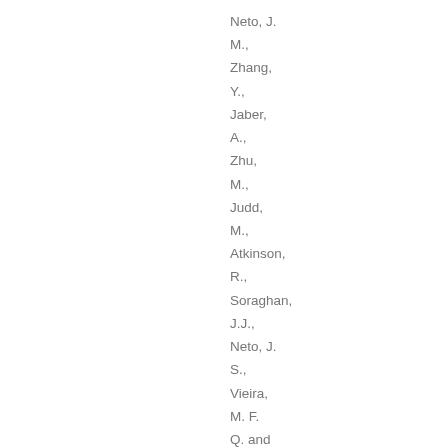Neto, J. M., Zhang, Y., Jaber, A., Zhu, M., Judd, M., Atkinson, R., Soraghan, J.J., Neto, J. S., Vieira, M. F. Q. and Glover, Ian